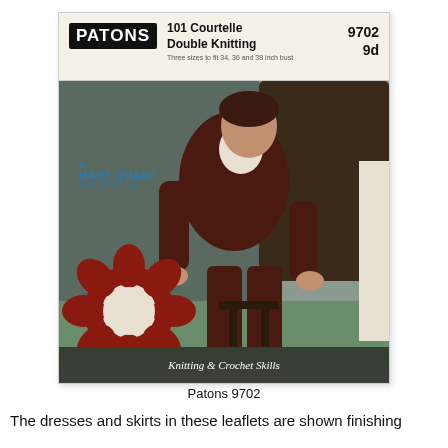[Figure (photo): Cover of Patons knitting pattern 9702 featuring a woman wearing a dark ribbed knit ensemble (top and trousers) with a turtleneck, seated near a large decorative flower prop. Header shows PATONS logo, '101 Courtelle Double Knitting', '9702 9d'. Mary Quant Courtelle logo visible. Bottom reads 'Knitting & Crochet Skills'.]
Patons 9702
The dresses and skirts in these leaflets are shown finishing